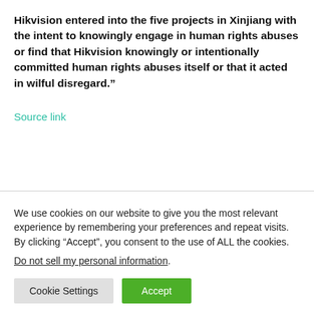Hikvision entered into the five projects in Xinjiang with the intent to knowingly engage in human rights abuses or find that Hikvision knowingly or intentionally committed human rights abuses itself or that it acted in wilful disregard."
Source link
We use cookies on our website to give you the most relevant experience by remembering your preferences and repeat visits. By clicking “Accept”, you consent to the use of ALL the cookies.
Do not sell my personal information.